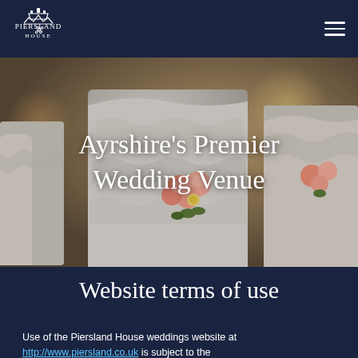Piersland House — navigation bar with logo and menu icon
[Figure (photo): Wedding venue photo showing white fabric-draped chairs with pink rose bouquets attached, soft bokeh background with warm light]
Ayrshire's Premier Wedding Venue
Website terms of use
Use of the Piersland House weddings website at http://www.piersland.co.uk is subject to the